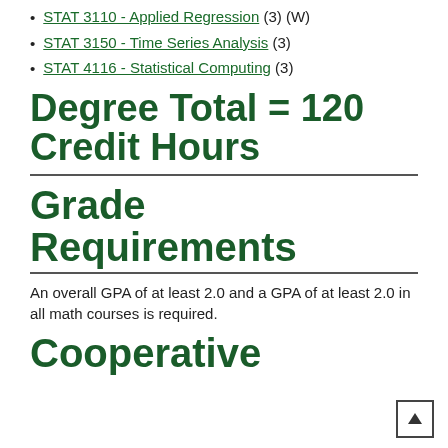STAT 3110 - Applied Regression (3) (W)
STAT 3150 - Time Series Analysis (3)
STAT 4116 - Statistical Computing (3)
Degree Total = 120 Credit Hours
Grade Requirements
An overall GPA of at least 2.0 and a GPA of at least 2.0 in all math courses is required.
Cooperative